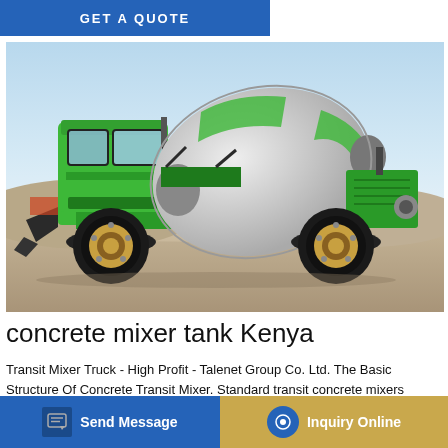GET A QUOTE
[Figure (photo): Green self-loading concrete mixer truck parked on a sandy construction site. The truck has a white rotating drum mixer on its back, a green cab, large black tires with gold rims, and a front loading bucket. Background shows a quarry or earthworks site under a clear blue sky.]
concrete mixer tank Kenya
Transit Mixer Truck - High Profit - Talenet Group Co. Ltd. The Basic Structure Of Concrete Transit Mixer. Standard transit concrete mixers consist of two parts that are chassis and mixing equipment for concrete mixing, called transit m can directly get power from truck.